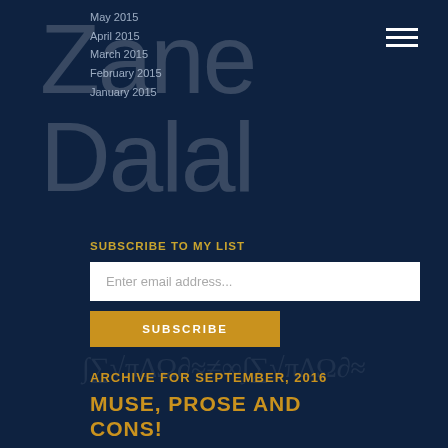[Figure (logo): Zane Dalal logo in large light text overlaid on dark navy background]
May 2015
April 2015
March 2015
February 2015
January 2015
SUBSCRIBE TO MY LIST
Enter email address...
SUBSCRIBE
ARCHIVE FOR SEPTEMBER, 2016
MUSE, PROSE AND CONS!
SEPTEMBER EDITION
POSTED: SEPTEMBER 30TH, 2016
E pluribus unum! It is not that this phrase “Out of the many, one” – tied so uniquely to Americana and the